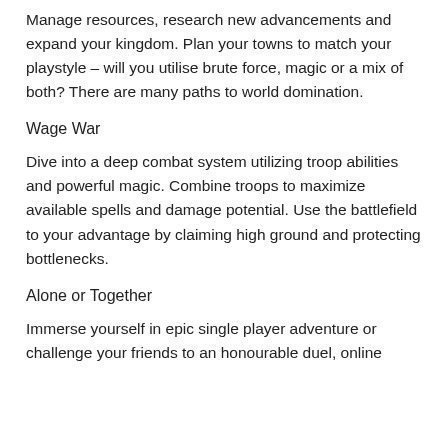Manage resources, research new advancements and expand your kingdom. Plan your towns to match your playstyle – will you utilise brute force, magic or a mix of both? There are many paths to world domination.
Wage War
Dive into a deep combat system utilizing troop abilities and powerful magic. Combine troops to maximize available spells and damage potential. Use the battlefield to your advantage by claiming high ground and protecting bottlenecks.
Alone or Together
Immerse yourself in epic single player adventure or challenge your friends to an honourable duel, online or locally.